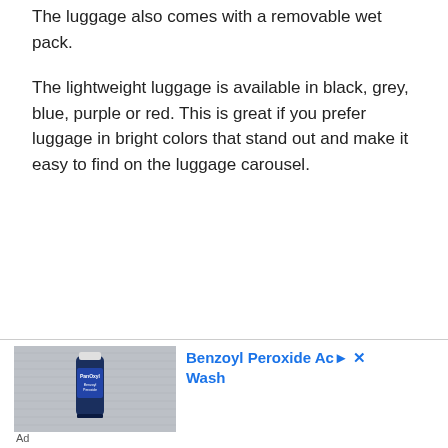The luggage also comes with a removable wet pack.
The lightweight luggage is available in black, grey, blue, purple or red. This is great if you prefer luggage in bright colors that stand out and make it easy to find on the luggage carousel.
[Figure (other): Advertisement banner showing a Panoxyl product tube (Benzoyl Peroxide Acne Wash) against a grey background, with ad title 'Benzoyl Peroxide Acne Wash' in blue text, play and close icons, and 'Ad' label below.]